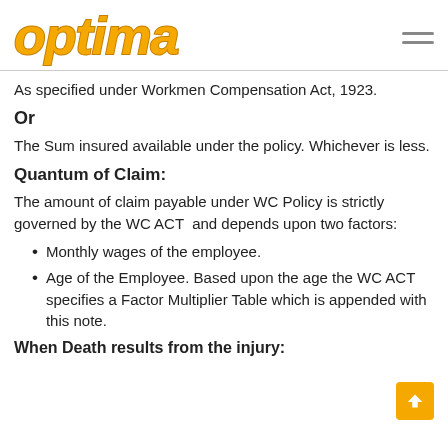optima
As specified under Workmen Compensation Act, 1923.
Or
The Sum insured available under the policy. Whichever is less.
Quantum of Claim:
The amount of claim payable under WC Policy is strictly governed by the WC ACT  and depends upon two factors:
Monthly wages of the employee.
Age of the Employee. Based upon the age the WC ACT specifies a Factor Multiplier Table which is appended with this note.
When Death results from the injury: